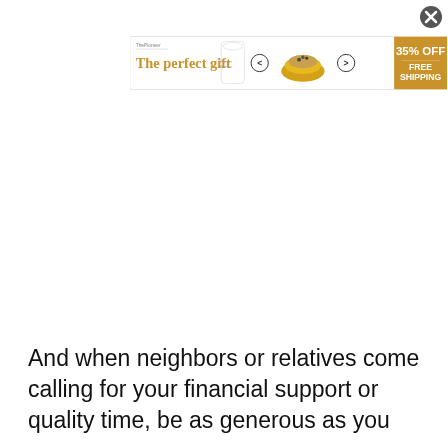[Figure (other): Advertisement banner for 'The Pioneer Woman' kitchenware. Shows 'The perfect gift' tagline in gold, a glass product image, left/right navigation arrows, a yellow bowl with food, and a gold promotional box showing '35% OFF + FREE SHIPPING'. Close button (X) in top right corner.]
And when neighbors or relatives come calling for your financial support or quality time, be as generous as you